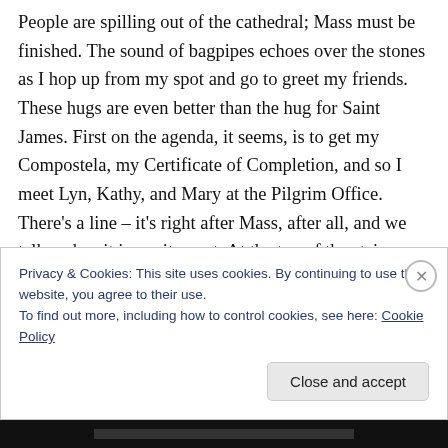People are spilling out of the cathedral; Mass must be finished. The sound of bagpipes echoes over the stones as I hop up from my spot and go to greet my friends. These hugs are even better than the hug for Saint James. First on the agenda, it seems, is to get my Compostela, my Certificate of Completion, and so I meet Lyn, Kathy, and Mary at the Pilgrim Office. There's a line – it's right after Mass, after all, and we talk and wait in excitement. At the top of the stairs we present our filled-in Pilgrim
Privacy & Cookies: This site uses cookies. By continuing to use this website, you agree to their use.
To find out more, including how to control cookies, see here: Cookie Policy
Close and accept